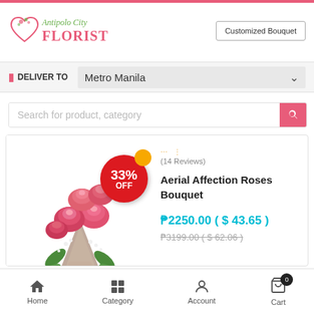[Figure (logo): Antipolo City Florist logo with flower icon, script text and bold FLORIST text in pink]
Customized Bouquet
DELIVER TO   Metro Manila
Search for product, category
[Figure (photo): Pink roses bouquet wrapped in brown paper with red ribbon and bow, showing 33% OFF badge]
(14 Reviews)
Aerial Affection Roses Bouquet
₱2250.00 ( $ 43.65 )
₱3199.00 ( $ 62.06 )
Home
Category
Account
Cart